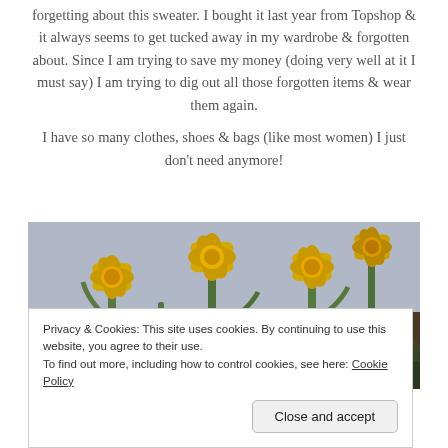forgetting about this sweater. I bought it last year from Topshop & it always seems to get tucked away in my wardrobe & forgotten about. Since I am trying to save my money (doing very well at it I must say) I am trying to dig out all those forgotten items & wear them again.
I have so many clothes, shoes & bags (like most women) I just don't need anymore!
[Figure (photo): Close-up photo of yellow daffodil flowers against a grey/blue background]
Privacy & Cookies: This site uses cookies. By continuing to use this website, you agree to their use. To find out more, including how to control cookies, see here: Cookie Policy
Close and accept